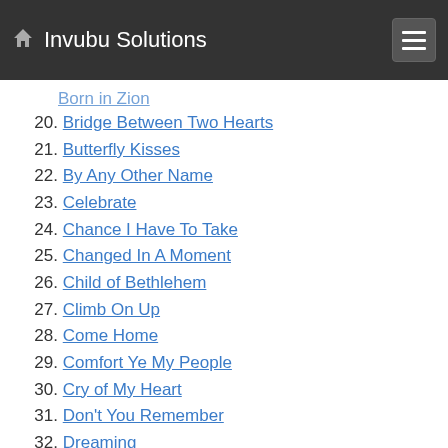Invubu Solutions
19. Born in Zion
20. Bridge Between Two Hearts
21. Butterfly Kisses
22. By Any Other Name
23. Celebrate
24. Chance I Have To Take
25. Changed In A Moment
26. Child of Bethlehem
27. Climb On Up
28. Come Home
29. Comfort Ye My People
30. Cry of My Heart
31. Don't You Remember
32. Dreaming
33. Every Now and Again
34. Every Step I Take
35. Every Waking Moment
36. Everything Can Change So Fast
37. Fatherless